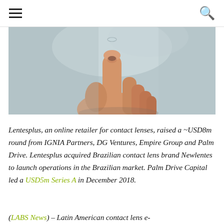☰  🔍
[Figure (photo): Close-up photo of a hand with a finger pointing upward, holding a contact lens on the fingertip, against a blurred background.]
Lentesplus, an online retailer for contact lenses, raised a ~USD8m round from IGNIA Partners, DG Ventures, Empire Group and Palm Drive. Lentesplus acquired Brazilian contact lens brand Newlentes to launch operations in the Brazilian market. Palm Drive Capital led a USD5m Series A in December 2018.
(LABS News) – Latin American contact lens e-